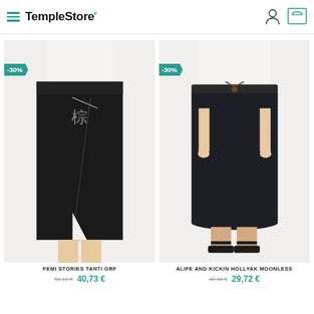TempleStore
[Figure (photo): Black midi wrap skirt with palm tree emblem, -30% discount badge, worn by a model on white background. Product: FEMI STORIES TANTI GRF]
[Figure (photo): Black knee-length skirt with drawstring waist, -30% discount badge, model wearing black sandals on white background. Product: ALIFE AND KICKIN HOLLYAK MOONLESS]
FEMI STORIES TANTI GRF
58,18 € / 40,73 €
ALIFE AND KICKIN HOLLYAK MOONLESS
42,46 € / 29,72 €